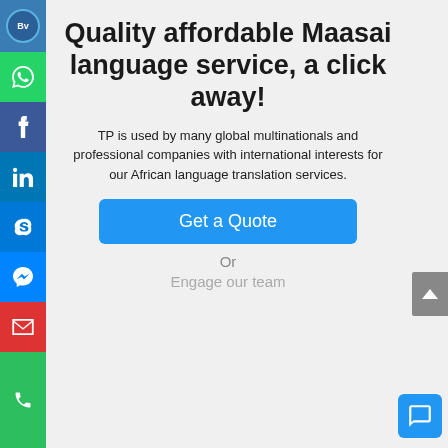[Figure (infographic): Sidebar with social/contact icons: logo (Bv), WhatsApp, Facebook, LinkedIn, Skype, Messenger, Email, Phone]
Quality affordable Maasai language service, a click away!
TP is used by many global multinationals and professional companies with international interests for our African language translation services.
Get a Quote
Or
Engage our team